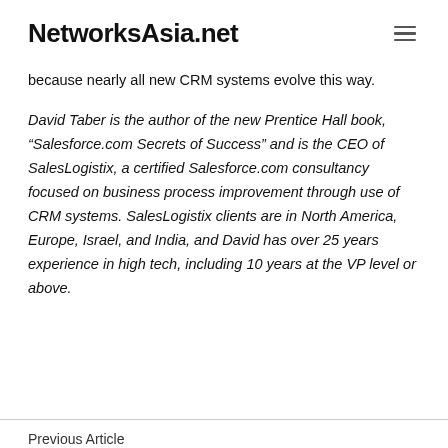NetworksAsia.net
because nearly all new CRM systems evolve this way.
David Taber is the author of the new Prentice Hall book, “Salesforce.com Secrets of Success” and is the CEO of SalesLogistix, a certified Salesforce.com consultancy focused on business process improvement through use of CRM systems. SalesLogistix clients are in North America, Europe, Israel, and India, and David has over 25 years experience in high tech, including 10 years at the VP level or above.
Previous Article